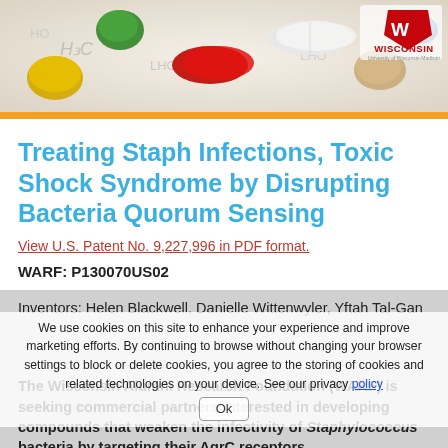[Figure (photo): Header image showing colorful pills and capsules (red, green, yellow, white, beige, blue) on a surface with chemical formula markings, and University of Wisconsin logo (W badge) with WISCONSIN text in top right corner]
Treating Staph Infections, Toxic Shock Syndrome by Disrupting Bacteria Quorum Sensing
View U.S. Patent No. 9,227,996 in PDF format.
WARF: P130070US02
Inventors: Helen Blackwell, Danielle Wittenwyler, Yftah Tal-Gan
The Wisconsin Alumni Research Foundation (WARF) is seeking commercial partners interested in developing compounds that weaken the infectivity of Staphylococcus bacteria by targeting their AgrC receptors.
We use cookies on this site to enhance your experience and improve marketing efforts. By continuing to browse without changing your browser settings to block or delete cookies, you agree to the storing of cookies and related technologies on your device. See our privacy policy